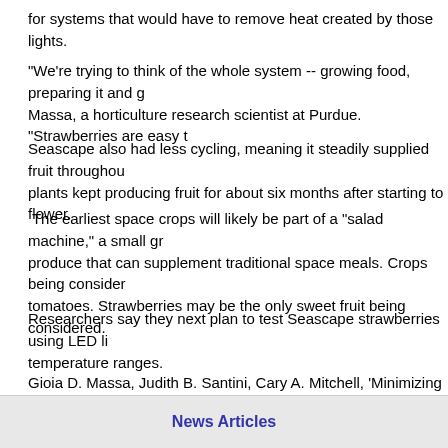for systems that would have to remove heat created by those lights.
"We're trying to think of the whole system -- growing food, preparing it and g Massa, a horticulture research scientist at Purdue. "Strawberries are easy t
Seascape also had less cycling, meaning it steadily supplied fruit throughou plants kept producing fruit for about six months after starting to flower.
The earliest space crops will likely be part of a "salad machine," a small gr produce that can supplement traditional space meals. Crops being consider tomatoes. Strawberries may be the only sweet fruit being considered.
Researchers say they next plan to test Seascape strawberries using LED li temperature ranges.
Gioia D. Massa, Judith B. Santini, Cary A. Mitchell, 'Minimizing energy utiliza long-duration space habitation', Advances In Space Research, February 20
News Articles